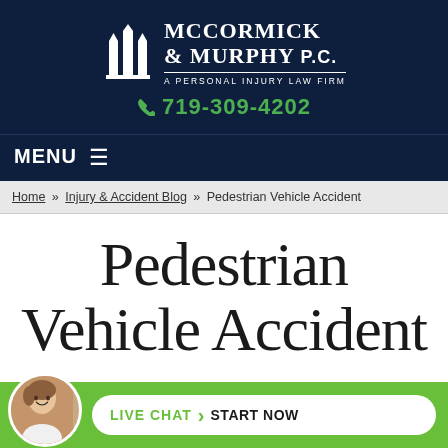[Figure (logo): McCormick & Murphy P.C. law firm logo with building icon and text 'A Personal Injury Law Firm']
719-309-4202
MENU ≡
Home » Injury & Accident Blog » Pedestrian Vehicle Accident
Pedestrian Vehicle Accident
[Figure (photo): Live chat widget with avatar photo of a smiling woman, green background bar with 'LIVE CHAT > START NOW' button]